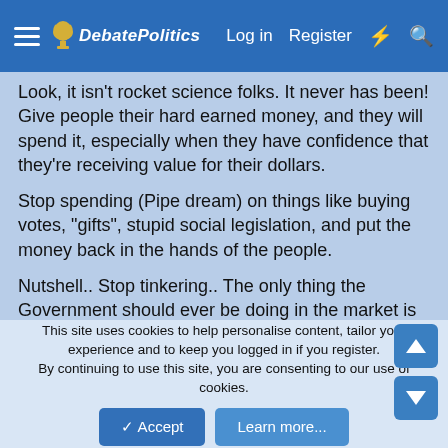DebatePolitics — Log in  Register
Look, it isn't rocket science folks. It never has been! Give people their hard earned money, and they will spend it, especially when they have confidence that they're receiving value for their dollars.
Stop spending (Pipe dream) on things like buying votes, "gifts", stupid social legislation, and put the money back in the hands of the people.
Nutshell.. Stop tinkering.. The only thing the Government should ever be doing in the market is to prevent monopolies by encouraging competition, regulate consumer disclosure, and let the people decide what they want to buy. You could literally wash your hands as the government by lifting all regulations, and resitrictions on the sale, and exchange of commerce, by spending more time on regulating full disclosure. Never happen I
This site uses cookies to help personalise content, tailor your experience and to keep you logged in if you register.
By continuing to use this site, you are consenting to our use of cookies.